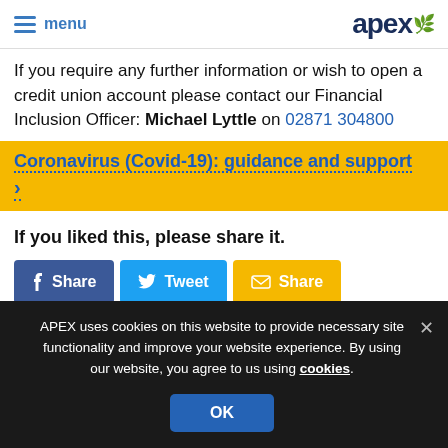menu | apex
If you require any further information or wish to open a credit union account please contact our Financial Inclusion Officer: Michael Lyttle on 02871 304800
Coronavirus (Covid-19): guidance and support >
If you liked this, please share it.
f Share | Tweet | Share
APEX uses cookies on this website to provide necessary site functionality and improve your website experience. By using our website, you agree to us using cookies. OK